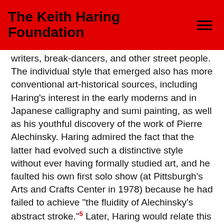The Keith Haring Foundation
writers, break-dancers, and other street people. The individual style that emerged also has more conventional art-historical sources, including Haring’s interest in the early moderns and in Japanese calligraphy and sumi painting, as well as his youthful discovery of the work of Pierre Alechinsky. Haring admired the fact that the latter had evolved such a distinctive style without ever having formally studied art, and he faulted his own first solo show (at Pittsburgh’s Arts and Crafts Center in 1978) because he had failed to achieve “the fluidity of Alechinsky’s abstract stroke.”⁵ Later, Haring would relate this graphic flow to the dynamics of sexuality and see both as an aspect of a “universal connection”⁶ that he hoped his work would further.
Thanks to their replication on everything from T-shirts to carpots, pictograms like the “Radiant Baby” and “Barking